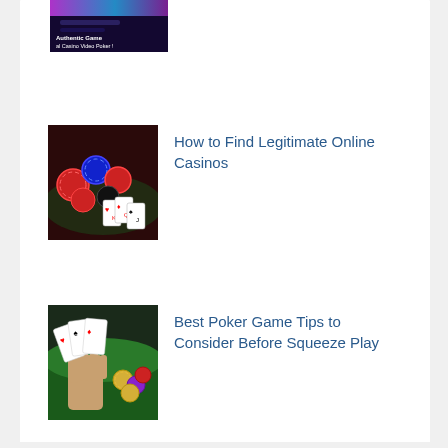[Figure (screenshot): Partial thumbnail of a casino video poker game with purple/teal banner and white text 'Authentic Game al Casino Video Poker!']
[Figure (photo): Casino chips, poker cards, and a red poker chip on a dark background - thumbnail for article about legitimate online casinos]
How to Find Legitimate Online Casinos
[Figure (photo): Hand holding playing cards over casino table with poker chips - thumbnail for poker game tips article]
Best Poker Game Tips to Consider Before Squeeze Play
Ads
[Figure (photo): Betgames.tv advertisement banner showing logo and a woman with ponytail against bokeh city lights background]